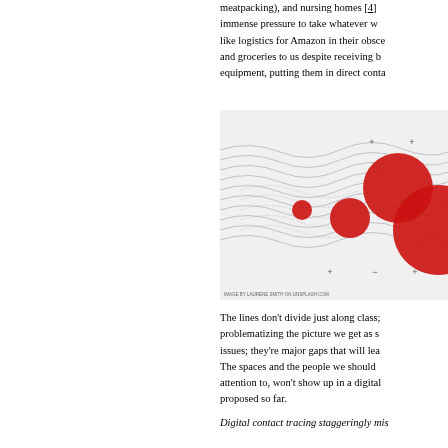meatpacking), and nursing homes [4] immense pressure to take whatever w like logistics for Amazon in their obsce and groceries to us despite receiving b equipment, putting them in direct conta
[Figure (illustration): Abstract visualization showing wavy contour lines with red circles of varying sizes overlaid, suggesting a network or spread pattern. Small cross (+) symbols scattered around. Caption text at bottom reads 'IMAGE BY LAURENE SMITH ON UNSPLASH.COM']
The lines don't divide just along class; problematizing the picture we get as s issues; they're major gaps that will lea The spaces and the people we should attention to, won't show up in a digital proposed so far.
Digital contact tracing staggeringly mis